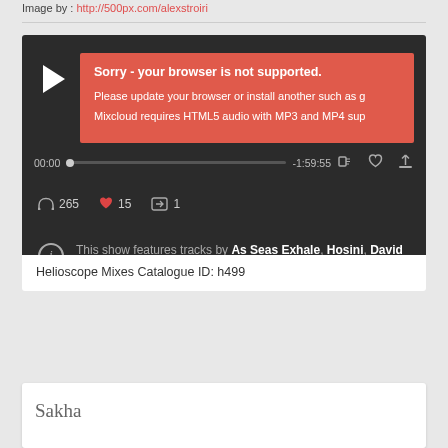Image by : http://500px.com/alexstroiri
[Figure (screenshot): Mixcloud audio player embedded widget with dark background. Shows a browser-not-supported error banner in red/coral color saying 'Sorry - your browser is not supported. Please update your browser or install another such as... Mixcloud requires HTML5 audio with MP3 and MP4 sup...'. Below is a progress bar showing 00:00 and -1:59:55. Stats show 265 listens, 15 favorites, 1 repost. Info section shows track credits: As Seas Exhale, Hosini, David Soto, &ME, Monkey Safari and more.]
Helioscope Mixes Catalogue ID: h499
Sakha